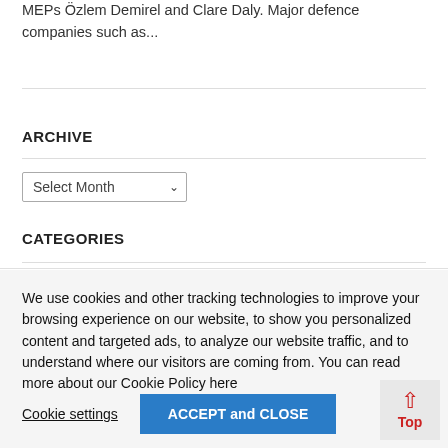MEPs Özlem Demirel and Clare Daly. Major defence companies such as...
ARCHIVE
Select Month
CATEGORIES
We use cookies and other tracking technologies to improve your browsing experience on our website, to show you personalized content and targeted ads, to analyze our website traffic, and to understand where our visitors are coming from. You can read more about our Cookie Policy here
Cookie settings
ACCEPT and CLOSE
Top